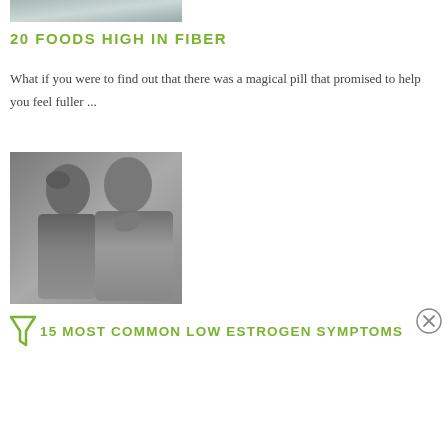[Figure (photo): Partial top image, cropped, appears to be food-related]
20 FOODS HIGH IN FIBER
What if you were to find out that there was a magical pill that promised to help you feel fuller ...
[Figure (photo): Black and white photo of two women — one looking distressed with hand on head, the other smiling with hand near chin]
15 MOST COMMON LOW ESTROGEN SYMPTOMS